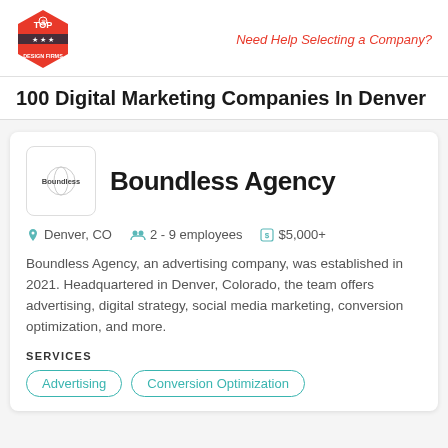Top Design Firms | Need Help Selecting a Company?
100 Digital Marketing Companies In Denver
[Figure (logo): Boundless Agency logo — small box with 'Boundless' text and a circular icon]
Boundless Agency
Denver, CO   2 - 9 employees   $5,000+
Boundless Agency, an advertising company, was established in 2021. Headquartered in Denver, Colorado, the team offers advertising, digital strategy, social media marketing, conversion optimization, and more.
SERVICES
Advertising
Conversion Optimization